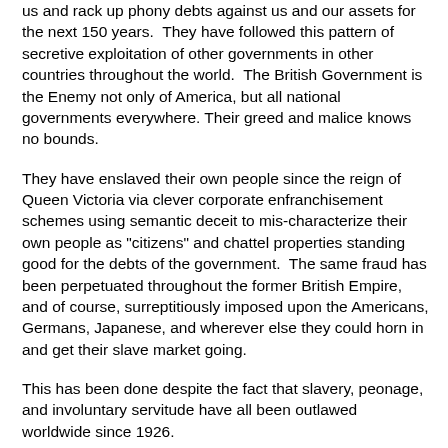us and rack up phony debts against us and our assets for the next 150 years.  They have followed this pattern of secretive exploitation of other governments in other countries throughout the world.  The British Government is the Enemy not only of America, but all national governments everywhere. Their greed and malice knows no bounds.
They have enslaved their own people since the reign of Queen Victoria via clever corporate enfranchisement schemes using semantic deceit to mis-characterize their own people as "citizens" and chattel properties standing good for the debts of the government.  The same fraud has been perpetuated throughout the former British Empire, and of course, surreptitiously imposed upon the Americans, Germans, Japanese, and wherever else they could horn in and get their slave market going.
This has been done despite the fact that slavery, peonage, and involuntary servitude have all been outlawed worldwide since 1926.
The facts are nailed down and the conclusions cannot be